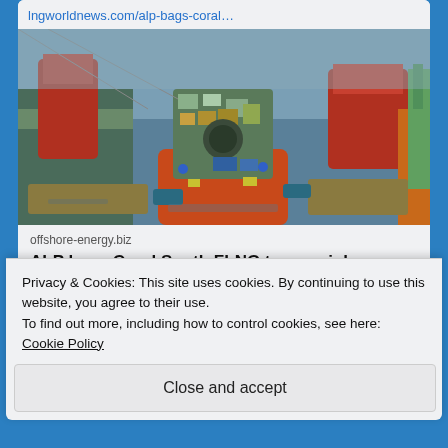lngworldnews.com/alp-bags-coral…
[Figure (photo): Aerial view of a large orange-hulled ship (FLNG vessel) under construction at a shipyard, surrounded by cranes, barges, and other vessels in a harbor.]
offshore-energy.biz
ALP bags Coral South FLNG towage job
Privacy & Cookies: This site uses cookies. By continuing to use this website, you agree to their use.
To find out more, including how to control cookies, see here:
Cookie Policy
Close and accept